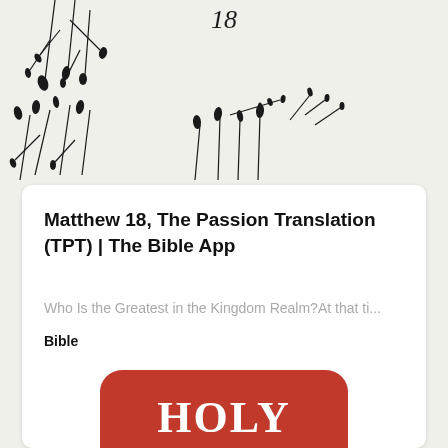18
[Figure (illustration): Decorative botanical illustration with wildflowers and dried floral stems on a light beige background]
Matthew 18, The Passion Translation (TPT) | The Bible App
Who Is the Greatest in the Kingdom Realm?At that ti...
Bible
[Figure (screenshot): Holy Bible app icon showing red rounded rectangle with white text reading HOLY BIBLE]